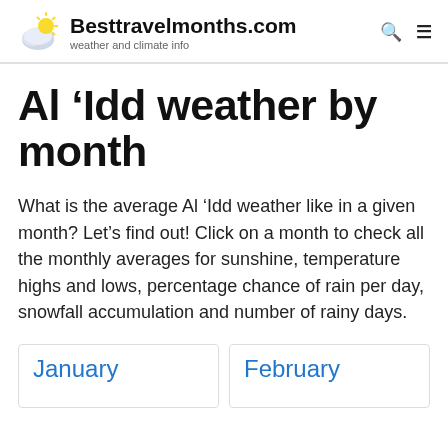Besttravelmonths.com — weather and climate info
Al 'Idd weather by month
What is the average Al 'Idd weather like in a given month? Let's find out! Click on a month to check all the monthly averages for sunshine, temperature highs and lows, percentage chance of rain per day, snowfall accumulation and number of rainy days.
January
February